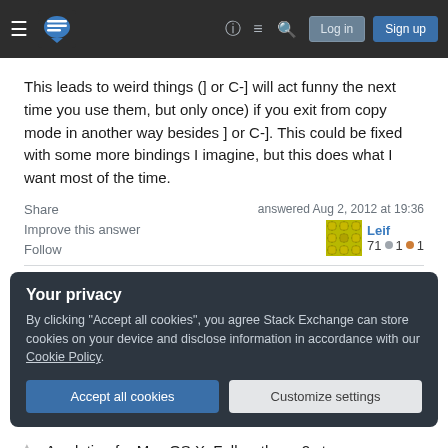Stack Exchange navigation bar with hamburger menu, logo, help, chat, search icons, Log in and Sign up buttons
This leads to weird things (] or C-] will act funny the next time you use them, but only once) if you exit from copy mode in another way besides ] or C-]. This could be fixed with some more bindings I imagine, but this does what I want most of the time.
Share
Improve this answer
Follow
answered Aug 2, 2012 at 19:36
Leif
71 ● 1 ● 1
Your privacy
By clicking "Accept all cookies", you agree Stack Exchange can store cookies on your device and disclose information in accordance with our Cookie Policy.
Accept all cookies   Customize settings
A solution for Mac OS X. Follow these 2 steps: